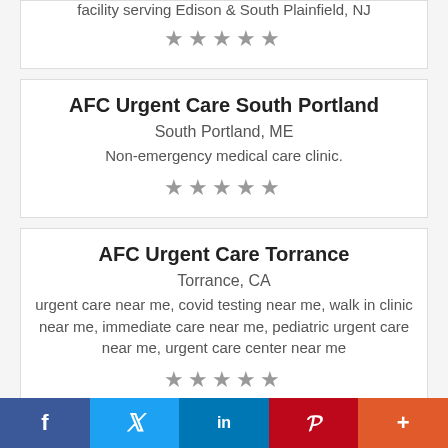facility serving Edison & South Plainfield, NJ
[Figure (other): 5 grey star rating (empty stars)]
AFC Urgent Care South Portland
South Portland, ME
Non-emergency medical care clinic.
[Figure (other): 5 grey star rating (empty stars)]
AFC Urgent Care Torrance
Torrance, CA
urgent care near me, covid testing near me, walk in clinic near me, immediate care near me, pediatric urgent care near me, urgent care center near me
[Figure (other): 5 grey star rating (empty stars)]
AffordaShare
f  t  in  P  +